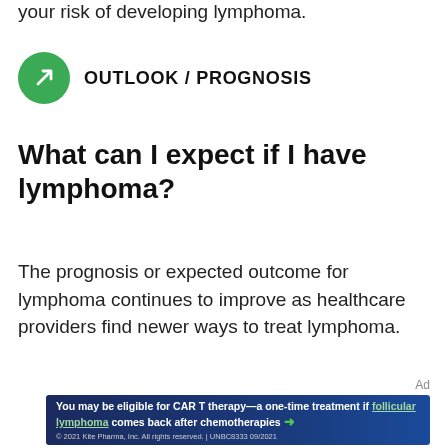your risk of developing lymphoma.
OUTLOOK / PROGNOSIS
What can I expect if I have lymphoma?
The prognosis or expected outcome for lymphoma continues to improve as healthcare providers find newer ways to treat lymphoma.
Ad
[Figure (other): Advertisement banner: 'You may be eligible for CAR T therapy—a one-time treatment if follicular lymphoma comes back after chemotherapies →' with footer '© 2021 Kite Pharma, Inc. All rights reserved. | UNBC8333 09/2021']